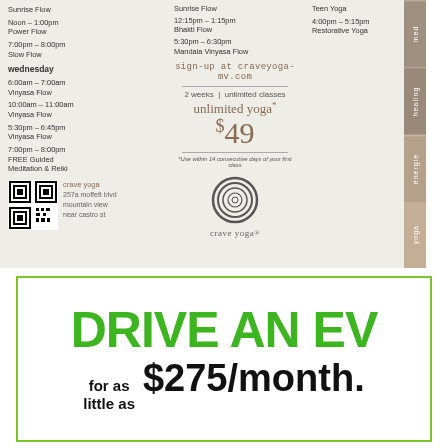Sunrise Flow
Noon – 1:00pm
Power Flow
7:00pm – 8:00pm
Slow Flow
wednesday
6:00am – 7:00am
Vinyasa Flow
10:00am – 11:00am
Vinyasa Flow
5:30pm – 6:45pm
Vinyasa Flow
7:00pm – 8:00pm
FREE Guided Meditation & Reiki
Sunrise Flow
12:15pm – 1:15pm
Bhakti Flow
5:30pm – 6:30pm
Mandala Vinyasa Flow
Teen Yoga
4:00pm – 5:15pm
Restorative Yoga
sign-up at craveyoga-mv.com
2 weeks | unlimited classes
unlimited yoga*
$49
*Use within 14 consecutive days of your first class
crave yoga
257a moffett blvd
mountain view
near castro st
[Figure (logo): Crave Yoga logo with spiral circle mark and 'crave yoga' text]
[Figure (other): QR code for crave yoga website]
DRIVE AN EV
for as little as $275/month.